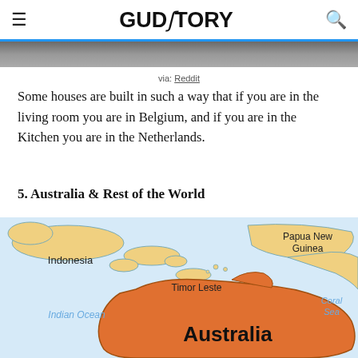GUDSTORY
[Figure (photo): Partial photo strip at top of article]
via: Reddit
Some houses are built in such a way that if you are in the living room you are in Belgium, and if you are in the Kitchen you are in the Netherlands.
5. Australia & Rest of the World
[Figure (map): Map showing Australia, Indonesia, Papua New Guinea, Timor Leste, Indian Ocean, Coral Sea regions]